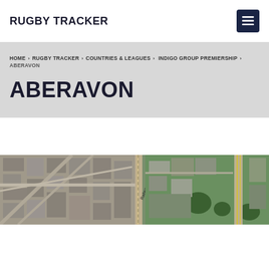RUGBY TRACKER
HOME › RUGBY TRACKER › COUNTRIES & LEAGUES › INDIGO GROUP PREMIERSHIP › ABERAVON
ABERAVON
[Figure (photo): Aerial satellite map view of Aberavon area showing roads, buildings, green spaces, and a railway path label]